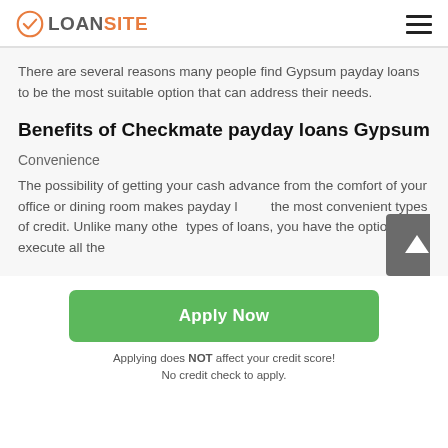LOANSITE
There are several reasons many people find Gypsum payday loans to be the most suitable option that can address their needs.
Benefits of Checkmate payday loans Gypsum
Convenience
The possibility of getting your cash advance from the comfort of your office or dining room makes payday loans the most convenient types of credit. Unlike many other types of loans, you have the option to execute all the
[Figure (other): Scroll-to-top arrow button (dark grey square with white upward arrow)]
Apply Now
Applying does NOT affect your credit score!
No credit check to apply.